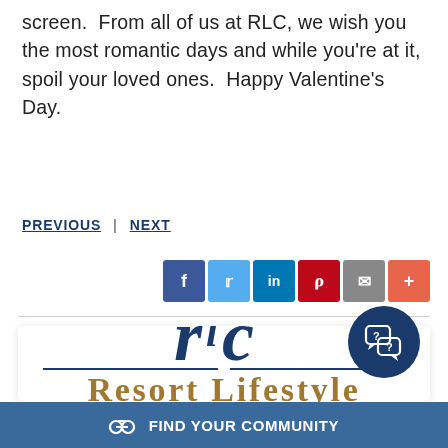screen.  From all of us at RLC, we wish you the most romantic days and while you're at it, spoil your loved ones.  Happy Valentine's Day.
PREVIOUS  |  NEXT
[Figure (infographic): Social media share buttons: Facebook (blue), Twitter (light blue), LinkedIn (blue), Pinterest (red), Email (gray), Plus/More (orange-red)]
[Figure (logo): Resort Lifestyle Communities logo with RLC monogram in dark blue, horizontal lines, and company name in gold serif font. Chat bubble icon overlaid.]
FIND YOUR COMMUNITY